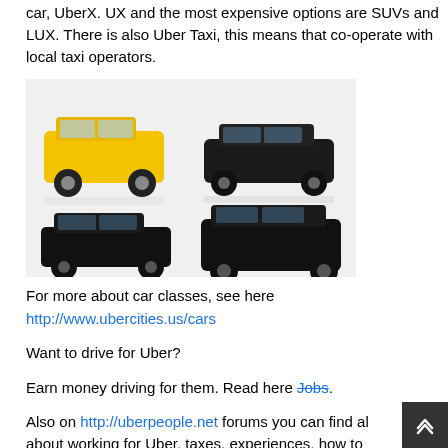car, UberX. UX and the most expensive options are SUVs and LUX. There is also Uber Taxi, this means that co-operate with local taxi operators.
[Figure (photo): Four car images on a light grey background: top-left is a yellow SUV, top-right is a black hybrid/hatchback sedan, bottom-left is a black luxury sedan, bottom-right is a black large SUV/van.]
For more about car classes, see here http://www.ubercities.us/cars
Want to drive for Uber?
Earn money driving for them. Read here Jobs.
Also on http://uberpeople.net forums you can find all about working for Uber, taxes, experiences, how to start, which cars are allowed and anything else that